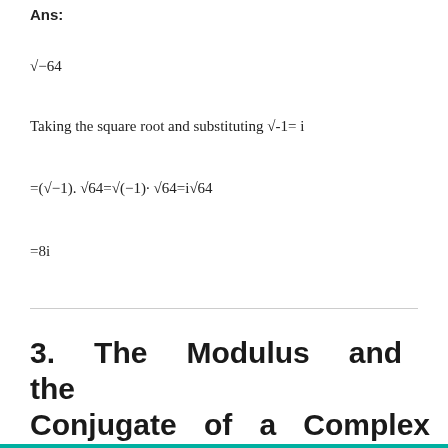Ans:
Taking the square root and substituting √-1= i
3.   The   Modulus   and   the   Conjugate of a Complex Numbers